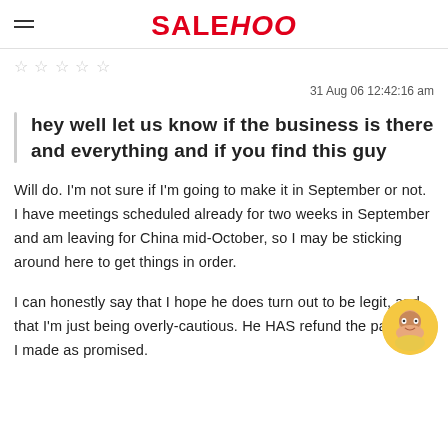SALEHOO
☆ ☆ ☆ ☆ ☆
31 Aug 06 12:42:16 am
hey well let us know if the business is there and everything and if you find this guy
Will do. I'm not sure if I'm going to make it in September or not. I have meetings scheduled already for two weeks in September and am leaving for China mid-October, so I may be sticking around here to get things in order.
I can honestly say that I hope he does turn out to be legit, and that I'm just being overly-cautious. He HAS refund the payment I made as promised.